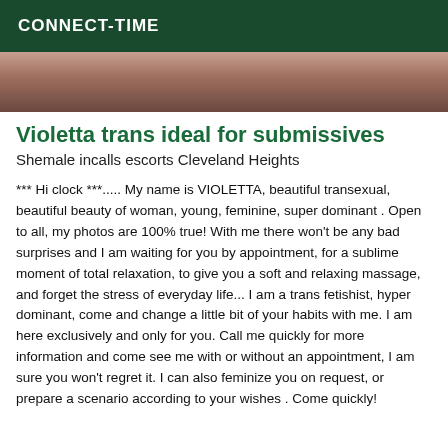CONNECT-TIME
[Figure (photo): Close-up photo of a person, cropped, showing skin tones in brown and tan colors]
Violetta trans ideal for submissives
Shemale incalls escorts Cleveland Heights
*** Hi clock ***..... My name is VIOLETTA, beautiful transexual, beautiful beauty of woman, young, feminine, super dominant . Open to all, my photos are 100% true! With me there won't be any bad surprises and I am waiting for you by appointment, for a sublime moment of total relaxation, to give you a soft and relaxing massage, and forget the stress of everyday life... I am a trans fetishist, hyper dominant, come and change a little bit of your habits with me. I am here exclusively and only for you. Call me quickly for more information and come see me with or without an appointment, I am sure you won't regret it. I can also feminize you on request, or prepare a scenario according to your wishes . Come quickly!